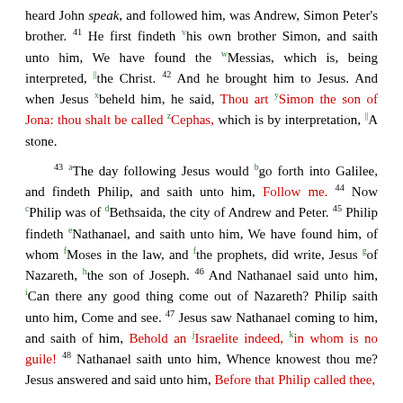heard John speak, and followed him, was Andrew, Simon Peter's brother. 41 He first findeth his own brother Simon, and saith unto him, We have found the Messias, which is, being interpreted, the Christ. 42 And he brought him to Jesus. And when Jesus beheld him, he said, Thou art Simon the son of Jona: thou shalt be called Cephas, which is by interpretation, A stone.
43 The day following Jesus would go forth into Galilee, and findeth Philip, and saith unto him, Follow me. 44 Now Philip was of Bethsaida, the city of Andrew and Peter. 45 Philip findeth Nathanael, and saith unto him, We have found him, of whom Moses in the law, and the prophets, did write, Jesus of Nazareth, the son of Joseph. 46 And Nathanael said unto him, Can there any good thing come out of Nazareth? Philip saith unto him, Come and see. 47 Jesus saw Nathanael coming to him, and saith of him, Behold an Israelite indeed, in whom is no guile! 48 Nathanael saith unto him, Whence knowest thou me? Jesus answered and said unto him, Before that Philip called thee,